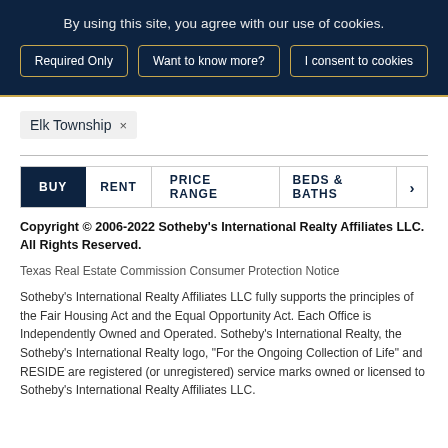By using this site, you agree with our use of cookies.
Required Only | Want to know more? | I consent to cookies
Elk Township ×
BUY  RENT  PRICE RANGE  BEDS & BATHS  >
Copyright © 2006-2022 Sotheby's International Realty Affiliates LLC. All Rights Reserved.
Texas Real Estate Commission Consumer Protection Notice
Sotheby's International Realty Affiliates LLC fully supports the principles of the Fair Housing Act and the Equal Opportunity Act. Each Office is Independently Owned and Operated. Sotheby's International Realty, the Sotheby's International Realty logo, "For the Ongoing Collection of Life" and RESIDE are registered (or unregistered) service marks owned or licensed to Sotheby's International Realty Affiliates LLC.